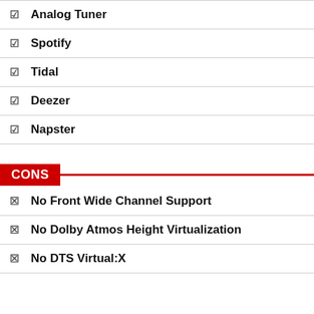Analog Tuner
Spotify
Tidal
Deezer
Napster
CONS
No Front Wide Channel Support
No Dolby Atmos Height Virtualization
No DTS Virtual:X